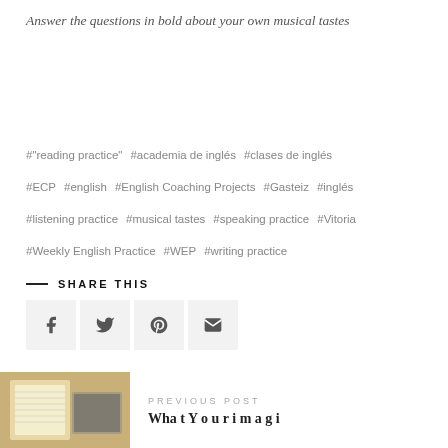Answer the questions in bold about your own musical tastes
#"reading practice" #academia de inglés #clases de inglés #ECP #english #English Coaching Projects #Gasteiz #inglés #listening practice #musical tastes #speaking practice #Vitoria #Weekly English Practice #WEP #writing practice
SHARE THIS
[Figure (photo): Thumbnail image for previous blog post showing a document page and a photo]
PREVIOUS POST
Wha t Y o u r i m a g i